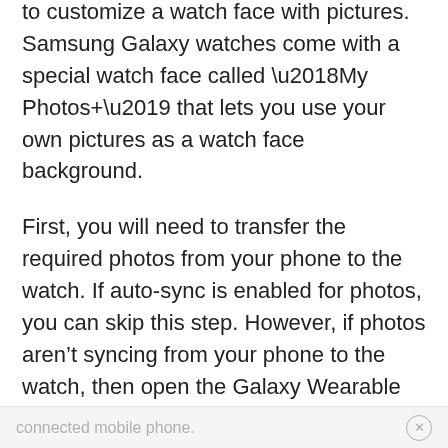download any third-party app or Watch Face to customize a watch face with pictures. Samsung Galaxy watches come with a special watch face called ‘My Photos+’ that lets you use your own pictures as a watch face background.
First, you will need to transfer the required photos from your phone to the watch. If auto-sync is enabled for photos, you can skip this step. However, if photos aren’t syncing from your phone to the watch, then open the Galaxy Wearable app on the
connected mobile phone.